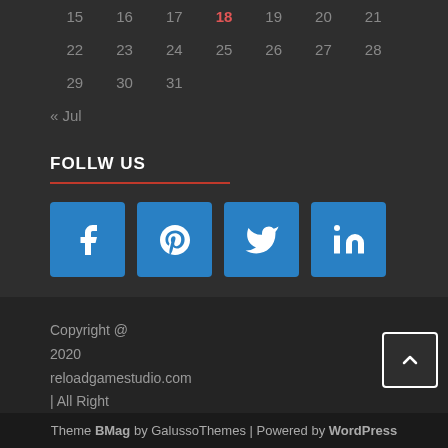| 15 | 16 | 17 | 18 | 19 | 20 | 21 |
| 22 | 23 | 24 | 25 | 26 | 27 | 28 |
| 29 | 30 | 31 |  |  |  |  |
« Jul
FOLLW US
[Figure (infographic): Four blue social media icon buttons: Facebook (f), Pinterest (P), Twitter (bird), LinkedIn (in)]
Copyright @ 2020 reloadgamestudio.com | All Right Reserved.
Theme BMag by GalussoThemes | Powered by WordPress